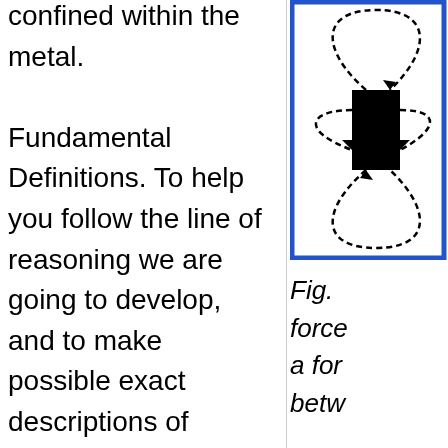confined within the metal. Fundamental Definitions. To help you follow the line of reasoning we are going to develop, and to make possible exact descriptions of magnetic phenomena in terms of fields rather than poles, we will need a few fundamental definitions.
[Figure (schematic): A diagram showing magnetic field lines looping around a rectangular magnet (shown as a black rectangle), with dashed curved arrows indicating the direction of the field lines. The diagram is enclosed in a blue rectangular border.]
Fig. force a for betw